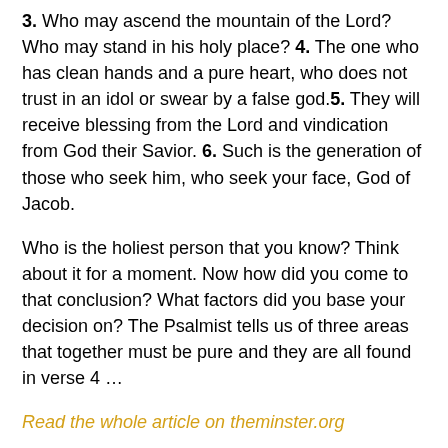3. Who may ascend the mountain of the Lord? Who may stand in his holy place? 4. The one who has clean hands and a pure heart, who does not trust in an idol or swear by a false god.5. They will receive blessing from the Lord and vindication from God their Savior. 6. Such is the generation of those who seek him, who seek your face, God of Jacob.
Who is the holiest person that you know? Think about it for a moment. Now how did you come to that conclusion? What factors did you base your decision on? The Psalmist tells us of three areas that together must be pure and they are all found in verse 4 …
Read the whole article on theminster.org